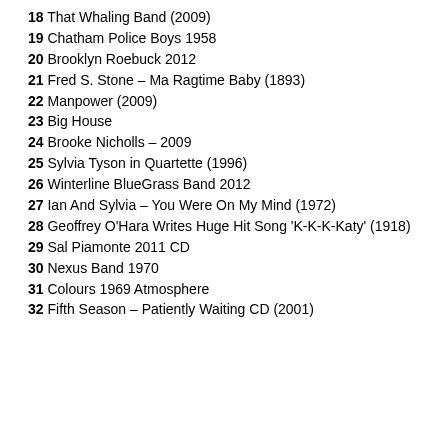18 That Whaling Band (2009)
19 Chatham Police Boys 1958
20 Brooklyn Roebuck 2012
21 Fred S. Stone – Ma Ragtime Baby (1893)
22 Manpower (2009)
23 Big House
24 Brooke Nicholls – 2009
25 Sylvia Tyson in Quartette (1996)
26 Winterline BlueGrass Band 2012
27 Ian And Sylvia – You Were On My Mind (1972)
28 Geoffrey O'Hara Writes Huge Hit Song 'K-K-K-Katy' (1918)
29 Sal Piamonte 2011 CD
30 Nexus Band 1970
31 Colours 1969 Atmosphere
32 Fifth Season – Patiently Waiting CD (2001)